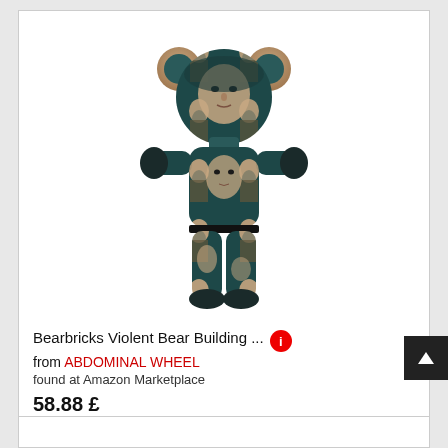[Figure (photo): A Bearbrick collectible figure covered in Mona Lisa print pattern on dark teal/black background. The toy bear has rounded ears, articulated arms and legs, and the famous Da Vinci painting reproduced across its entire surface.]
Bearbricks Violent Bear Building ... from ABDOMINAL WHEEL found at Amazon Marketplace 58.88 £ Shipping costs: 0.00 £